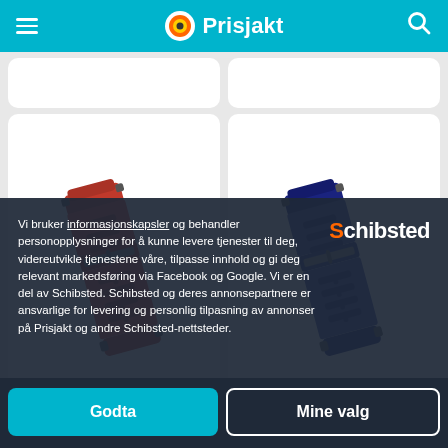Prisjakt
[Figure (photo): Red silicone watch band with metal hardware, Garmin-style quick-release strap]
[Figure (photo): Navy/dark blue silicone watch band with metal hardware, Garmin-style quick-release strap]
Vi bruker informasjonskapsler og behandler personopplysninger for å kunne levere tjenester til deg, videreutvikle tjenestene våre, tilpasse innhold og gi deg relevant markedsføring via Facebook og Google. Vi er en del av Schibsted. Schibsted og deres annonsepartnere er ansvarlige for levering og personlig tilpasning av annonser på Prisjakt og andre Schibsted-nettsteder.
Schibsted
Godta
Mine valg